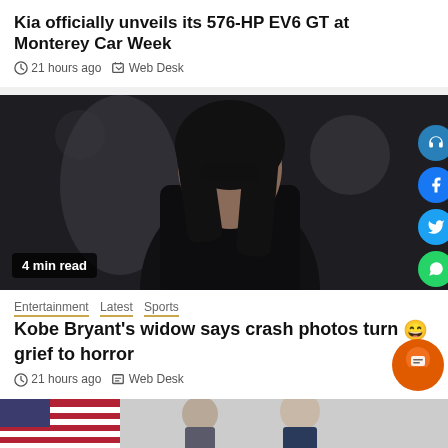Kia officially unveils its 576-HP EV6 GT at Monterey Car Week
21 hours ago  Web Desk
[Figure (photo): Woman in black outfit and sunglasses with long dark hair walking outdoors]
4 min read
Entertainment  Latest  Sports
Kobe Bryant's widow says crash photos turn grief to horror
21 hours ago  Web Desk
[Figure (photo): Partial image of people with American flags, bottom of page]